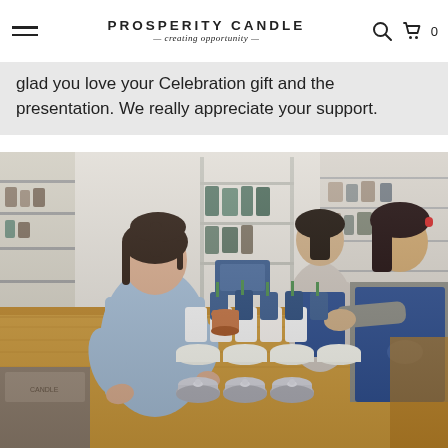PROSPERITY CANDLE — creating opportunity —
glad you love your Celebration gift and the presentation. We really appreciate your support.
[Figure (photo): Three women working at a wooden workshop table arranging candles and bowls in a bright studio space with shelving in the background. Two women wear blue aprons.]